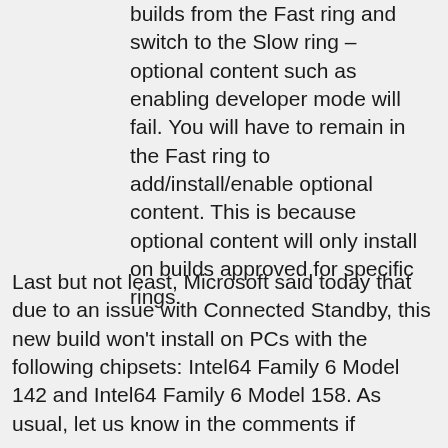builds from the Fast ring and switch to the Slow ring – optional content such as enabling developer mode will fail. You will have to remain in the Fast ring to add/install/enable optional content. This is because optional content will only install on builds approved for specific rings.
Last but not least, Microsoft said today that due to an issue with Connected Standby, this new build won't install on PCs with the following chipsets: Intel64 Family 6 Model 142 and Intel64 Family 6 Model 158. As usual, let us know in the comments if